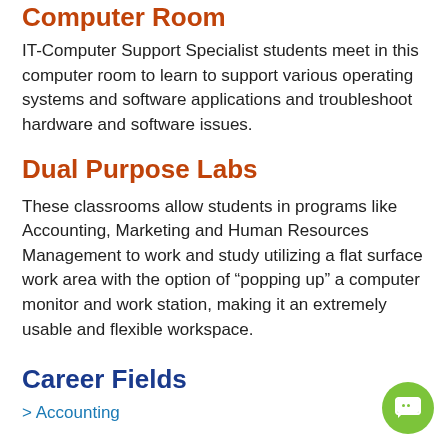Computer Room
IT-Computer Support Specialist students meet in this computer room to learn to support various operating systems and software applications and troubleshoot hardware and software issues.
Dual Purpose Labs
These classrooms allow students in programs like Accounting, Marketing and Human Resources Management to work and study utilizing a flat surface work area with the option of “popping up” a computer monitor and work station, making it an extremely usable and flexible workspace.
Career Fields
> Accounting